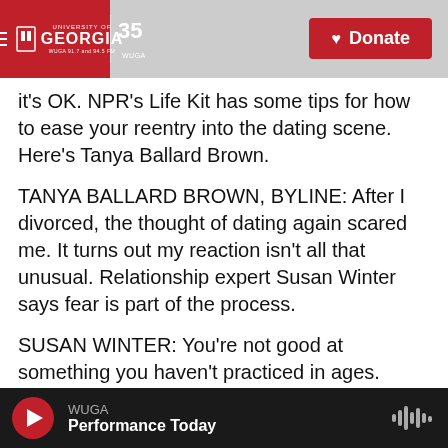University of Georgia WUGA 91.7 and 94.5 FM | 35 WUGA | Donate
it's OK. NPR's Life Kit has some tips for how to ease your reentry into the dating scene. Here's Tanya Ballard Brown.
TANYA BALLARD BROWN, BYLINE: After I divorced, the thought of dating again scared me. It turns out my reaction isn't all that unusual. Relationship expert Susan Winter says fear is part of the process.
SUSAN WINTER: You're not good at something you haven't practiced in ages.
WUGA Performance Today